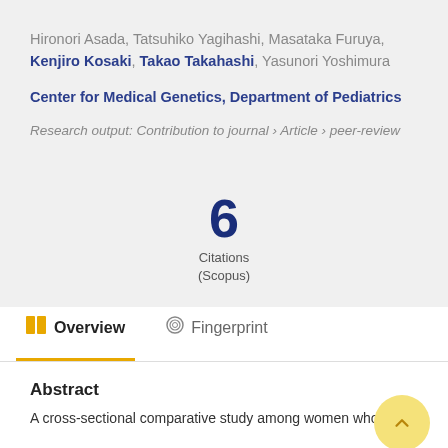Hironori Asada, Tatsuhiko Yagihashi, Masataka Furuya, Kenjiro Kosaki, Takao Takahashi, Yasunori Yoshimura
Center for Medical Genetics, Department of Pediatrics
Research output: Contribution to journal › Article › peer-review
6 Citations (Scopus)
Overview
Fingerprint
Abstract
A cross-sectional comparative study among women who